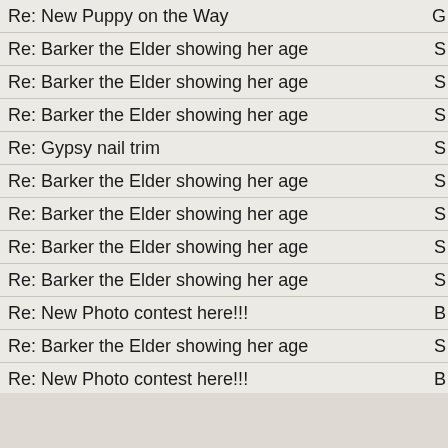Re: New Puppy on the Way
Re: Barker the Elder showing her age
Re: Barker the Elder showing her age
Re: Barker the Elder showing her age
Re: Gypsy nail trim
Re: Barker the Elder showing her age
Re: Barker the Elder showing her age
Re: Barker the Elder showing her age
Re: Barker the Elder showing her age
Re: New Photo contest here!!!
Re: Barker the Elder showing her age
Re: New Photo contest here!!!
Re: New Photo contest here!!!
Re: New Photo contest here!!!
Re: New Photo contest here!!!
Re: Barker the Elder showing her age